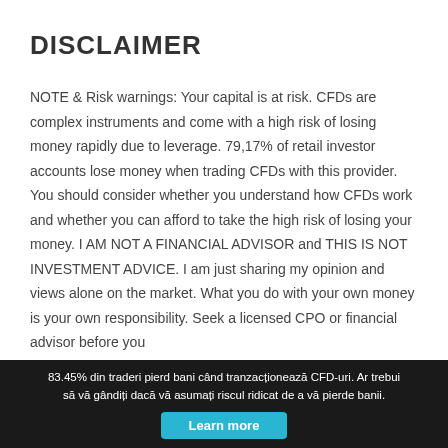DISCLAIMER
NOTE & Risk warnings: Your capital is at risk. CFDs are complex instruments and come with a high risk of losing money rapidly due to leverage. 79,17% of retail investor accounts lose money when trading CFDs with this provider. You should consider whether you understand how CFDs work and whether you can afford to take the high risk of losing your money. I AM NOT A FINANCIAL ADVISOR and THIS IS NOT INVESTMENT ADVICE. I am just sharing my opinion and views alone on the market. What you do with your own money is your own responsibility. Seek a licensed CPO or financial advisor before you
83.45% din traderi pierd bani când tranzacționează CFD-uri. Ar trebui să vă gândiți dacă vă asumați riscul ridicat de a vă pierde banii. Learn more